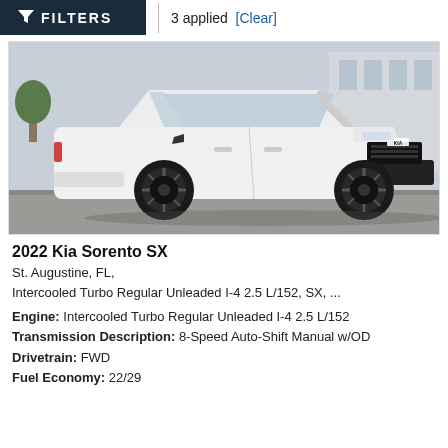FILTERS  |  3 applied  [Clear]
[Figure (photo): White 2022 Kia Sorento SX SUV photographed from front-left angle in a parking lot]
2022 Kia Sorento SX
St. Augustine, FL,
Intercooled Turbo Regular Unleaded I-4 2.5 L/152, SX, ...
Engine: Intercooled Turbo Regular Unleaded I-4 2.5 L/152
Transmission Description: 8-Speed Auto-Shift Manual w/OD
Drivetrain: FWD
Fuel Economy: 22/29